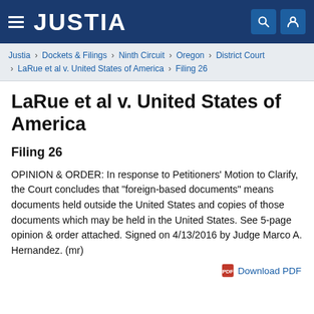JUSTIA
Justia › Dockets & Filings › Ninth Circuit › Oregon › District Court › LaRue et al v. United States of America › Filing 26
LaRue et al v. United States of America
Filing 26
OPINION & ORDER: In response to Petitioners' Motion to Clarify, the Court concludes that "foreign-based documents" means documents held outside the United States and copies of those documents which may be held in the United States. See 5-page opinion & order attached. Signed on 4/13/2016 by Judge Marco A. Hernandez. (mr)
Download PDF